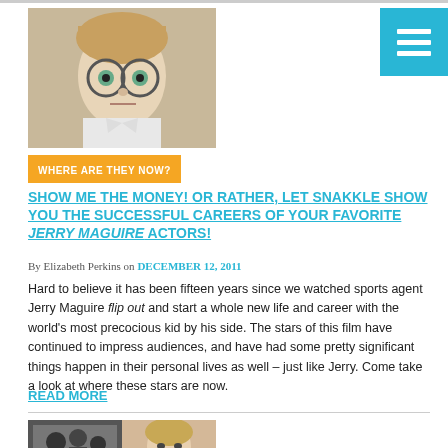[Figure (photo): Young boy with glasses, serious expression, light background]
WHERE ARE THEY NOW?
SHOW ME THE MONEY! OR RATHER, LET SNAKKLE SHOW YOU THE SUCCESSFUL CAREERS OF YOUR FAVORITE JERRY MAGUIRE ACTORS!
By Elizabeth Perkins on DECEMBER 12, 2011
Hard to believe it has been fifteen years since we watched sports agent Jerry Maguire flip out and start a whole new life and career with the world's most precocious kid by his side. The stars of this film have continued to impress audiences, and have had some pretty significant things happen in their personal lives as well – just like Jerry. Come take a look at where these stars are now.
READ MORE
[Figure (photo): Second article image: group photo in black and white on left, woman portrait on right]